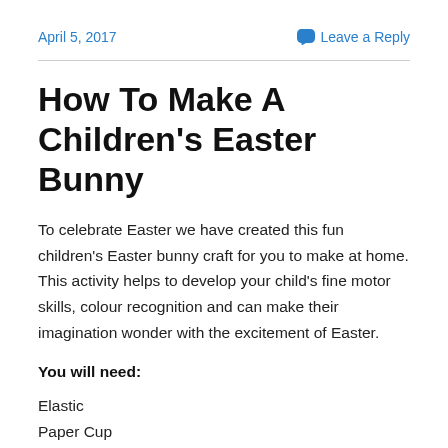April 5, 2017
Leave a Reply
How To Make A Children's Easter Bunny
To celebrate Easter we have created this fun children's Easter bunny craft for you to make at home. This activity helps to develop your child's fine motor skills, colour recognition and can make their imagination wonder with the excitement of Easter.
You will need:
Elastic
Paper Cup